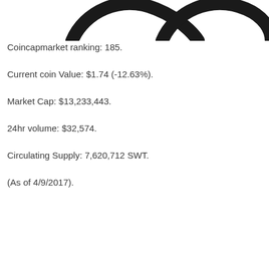[Figure (logo): Partial logo image showing curved swoosh shapes at the top of the page]
Coincapmarket ranking: 185.
Current coin Value: $1.74 (-12.63%).
Market Cap: $13,233,443.
24hr volume: $32,574.
Circulating Supply: 7,620,712 SWT.
(As of 4/9/2017).